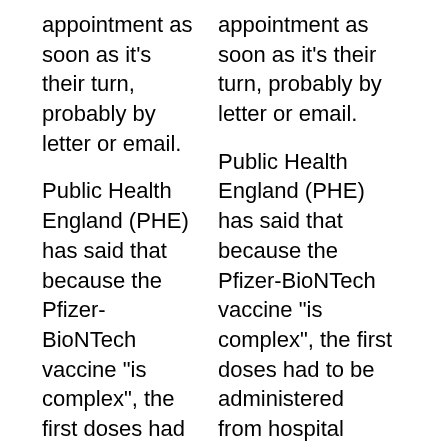appointment as soon as it's their turn, probably by letter or email.
appointment as soon as it's their turn, probably by letter or email.
Public Health England (PHE) has said that because the Pfizer-BioNTech vaccine "is complex", the first doses had to be administered from hospital hubs. These hubs are dotted around the country and are up and running.
Public Health England (PHE) has said that because the Pfizer-BioNTech vaccine "is complex", the first doses had to be administered from hospital hubs. These hubs are dotted around the country and are up and running.
The process for patients at these vaccination hubs: An anonymised plan from one hospital trust
The process for patients at these vaccination hubs: An anonymised plan from one hospital trust
Clinical Commissioning
Clinical Commissioning